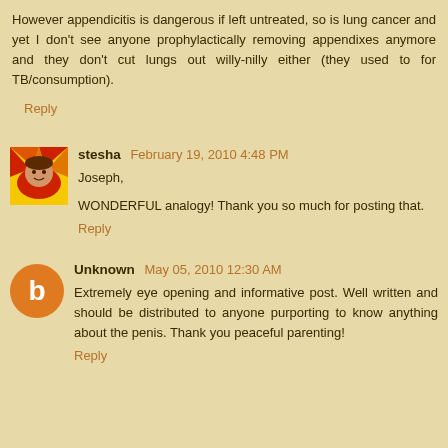However appendicitis is dangerous if left untreated, so is lung cancer and yet I don't see anyone prophylactically removing appendixes anymore and they don't cut lungs out willy-nilly either (they used to for TB/consumption).
Reply
stesha  February 19, 2010 4:48 PM
Joseph,
WONDERFUL analogy! Thank you so much for posting that.
Reply
Unknown  May 05, 2010 12:30 AM
Extremely eye opening and informative post. Well written and should be distributed to anyone purporting to know anything about the penis. Thank you peaceful parenting!
Reply